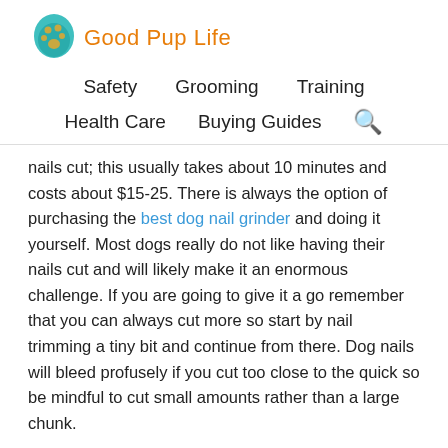[Figure (logo): Good Pup Life logo with teal paw/dog head icon and orange text]
Safety   Grooming   Training   Health Care   Buying Guides
nails cut; this usually takes about 10 minutes and costs about $15-25. There is always the option of purchasing the best dog nail grinder and doing it yourself. Most dogs really do not like having their nails cut and will likely make it an enormous challenge. If you are going to give it a go remember that you can always cut more so start by nail trimming a tiny bit and continue from there. Dog nails will bleed profusely if you cut too close to the quick so be mindful to cut small amounts rather than a large chunk.